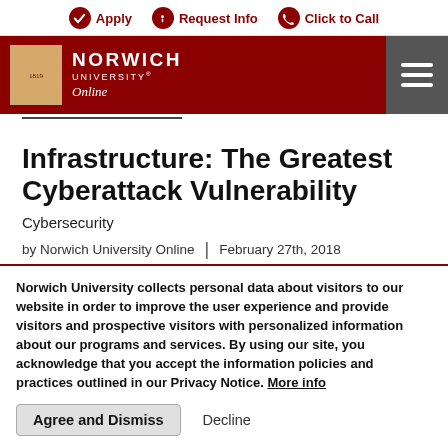Apply | Request Info | Click to Call
[Figure (logo): Norwich University Online logo with shield and text on dark red background with hamburger menu]
Infrastructure: The Greatest Cyberattack Vulnerability
Cybersecurity
by Norwich University Online | February 27th, 2018
[Figure (other): Social sharing icons: Twitter, Facebook, LinkedIn, Pinterest, Email]
Norwich University collects personal data about visitors to our website in order to improve the user experience and provide visitors and prospective visitors with personalized information about our programs and services. By using our site, you acknowledge that you accept the information policies and practices outlined in our Privacy Notice. More info
Agree and Dismiss   Decline